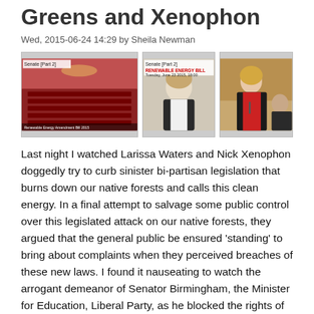Greens and Xenophon
Wed, 2015-06-24 14:29 by Sheila Newman
[Figure (photo): Three images: Senate chamber screenshot labeled 'Senate [Part 2]', a woman speaking labeled 'Senate [Part 2] RENEWABLE ENERGY BILL Tuesday, June 23 2015, 18:00', and a woman in black jacket speaking at a senate podium.]
Last night I watched Larissa Waters and Nick Xenophon doggedly try to curb sinister bi-partisan legislation that burns down our native forests and calls this clean energy. In a final attempt to salvage some public control over this legislated attack on our native forests, they argued that the general public be ensured 'standing' to bring about complaints when they perceived breaches of these new laws. I found it nauseating to watch the arrogant demeanor of Senator Birmingham, the Minister for Education, Liberal Party, as he blocked the rights of ordinary citizens to bring about complaints under the law and as he disparaged Senator Water's attempts to bring attention to crucial matters, such as the preservation of soil fertility when forest is depleted of its biomass. Greens Senator Milne summed up the situation when she said: "You are creating an industry to drive and prop up native forest logging. You are destroying habitat, you are